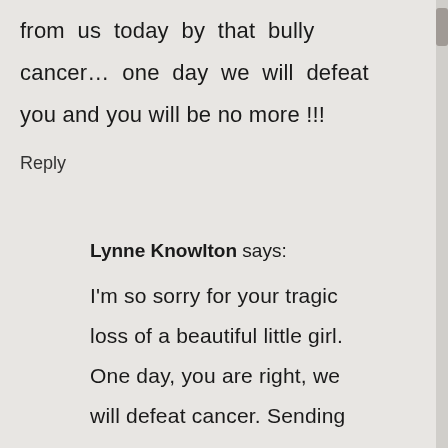from us today by that bully cancer… one day we will defeat you and you will be no more !!!
Reply
Lynne Knowlton says:
I'm so sorry for your tragic loss of a beautiful little girl. One day, you are right, we will defeat cancer. Sending you so much love. So